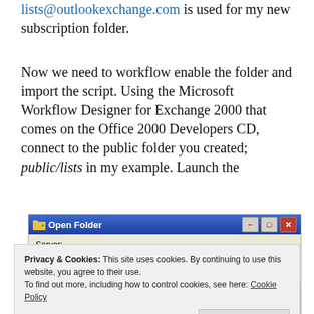lists@outlookexchange.com is used for my new subscription folder.
Now we need to workflow enable the folder and import the script. Using the Microsoft Workflow Designer for Exchange 2000 that comes on the Office 2000 Developers CD, connect to the public folder you created; public/lists in my example. Launch the
[Figure (screenshot): Windows dialog box titled 'Open Folder' with fields for Server (showing 'obiwan') and Folder, classic Windows XP style with blue gradient title bar and minimize/maximize/close buttons]
Privacy & Cookies: This site uses cookies. By continuing to use this website, you agree to their use.
To find out more, including how to control cookies, see here: Cookie Policy
Designer, and verify the server name, then type